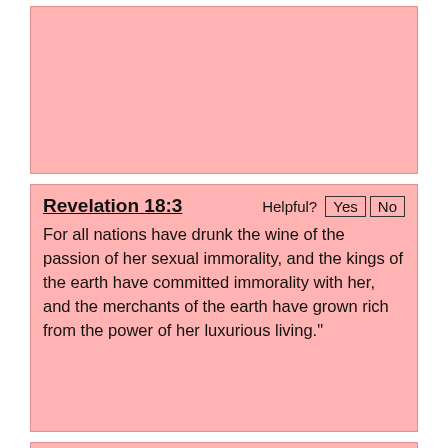[Figure (other): Pink/salmon colored card block at top of page, no visible text content]
Revelation 18:3
For all nations have drunk the wine of the passion of her sexual immorality, and the kings of the earth have committed immorality with her, and the merchants of the earth have grown rich from the power of her luxurious living."
Revelation 13:13-14
It performs great signs, even making fire come down from heaven to earth in front of people, and by the signs that it is allowed to work in the presence of the